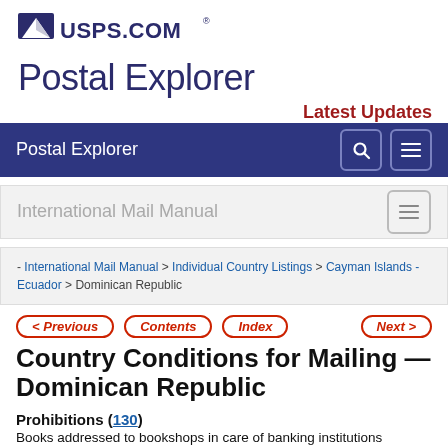[Figure (logo): USPS.COM logo with eagle icon]
Postal Explorer
Latest Updates
Postal Explorer [nav bar with search and menu icons]
International Mail Manual
- International Mail Manual > Individual Country Listings > Cayman Islands - Ecuador > Dominican Republic
< Previous   Contents   Index   Next >
Country Conditions for Mailing — Dominican Republic
Prohibitions (130)
Books addressed to bookshops in care of banking institutions